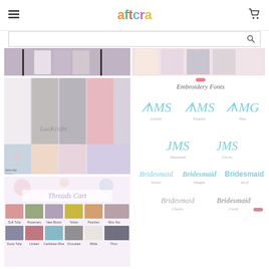aftcra - navigation header with logo, hamburger menu, and cart icon
[Figure (screenshot): Search bar with magnifying glass icon]
[Figure (photo): Two product photos of bridesmaid robes at top - left shows robes hanging in various colors, right shows robes displayed]
[Figure (photo): Large product image of LuaKrafts bridesmaid/getting ready robes in multiple colors including white, gray, pink, peach, lavender with lace trim details and floral fabric swatch]
[Figure (illustration): Embroidery Fonts display showing: Monogram styles - Lovely, Empire, Vine (circular monograms), Diamond, Circle (script monograms), and Bridesmaid script styles - Sweet, Simple, Serif, Classic, Curly]
[Figure (photo): Threads Cart color chart showing thread color swatches in grid - top row: Soft Tulip, Rosemary, New Bloom, Yellow, Peaches, Miss Tea; bottom row: Dusty Tulip, Limited, Caribbean Blue, Chocolate, White, Plum]